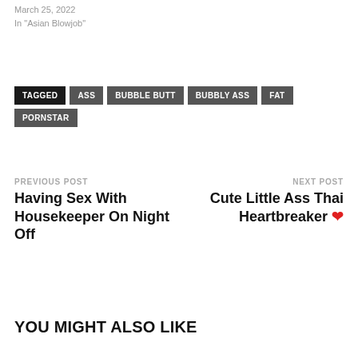March 25, 2022
In "Asian Blowjob"
TAGGED  ASS  BUBBLE BUTT  BUBBLY ASS  FAT  PORNSTAR
PREVIOUS POST
Having Sex With Housekeeper On Night Off
NEXT POST
Cute Little Ass Thai Heartbreaker ❤
YOU MIGHT ALSO LIKE